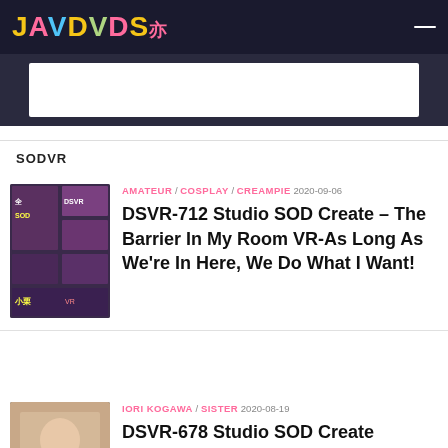JAVDVDS
[Figure (other): Advertisement banner placeholder]
SODVR
[Figure (photo): Thumbnail for DSVR-712]
AMATEUR / COSPLAY / CREAMPIE  2020-09-06
DSVR-712 Studio SOD Create – The Barrier In My Room VR-As Long As We're In Here, We Do What I Want!
[Figure (photo): Thumbnail for DSVR-678]
IORI KOGAWA / SISTER  2020-08-19
DSVR-678 Studio SOD Create